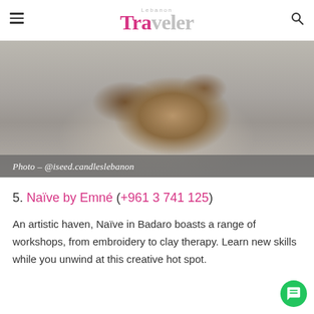Lebanon Traveler
[Figure (photo): A wicker basket with candles and decorative items on a gray cloth surface. Photo credit: @iseed.candleslebanon]
Photo – @iseed.candleslebanon
5. Naïve by Emné (+961 3 741 125)
An artistic haven, Naïve in Badaro boasts a range of workshops, from embroidery to clay therapy. Learn new skills while you unwind at this creative hot spot.